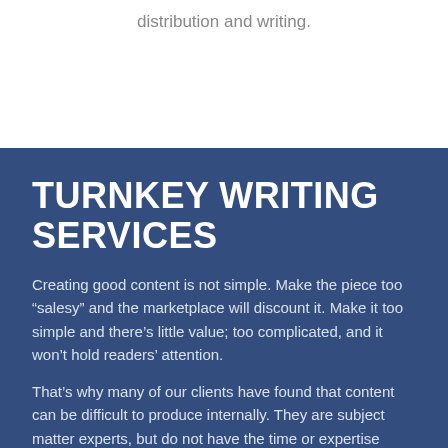distribution and writing.
TURNKEY WRITING SERVICES
Creating good content is not simple. Make the piece too “salesy” and the marketplace will discount it. Make it too simple and there’s little value; too complicated, and it won’t hold readers’ attention.
That’s why many of our clients have found that content can be difficult to produce internally. They are subject matter experts, but do not have the time or expertise